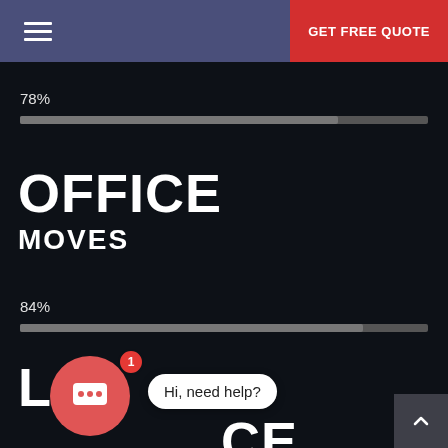≡  GET FREE QUOTE
78%
[Figure (infographic): Gray horizontal progress bar at approximately 78% fill]
OFFICE
MOVES
84%
[Figure (infographic): Gray horizontal progress bar at approximately 84% fill]
L…CE
MOVES
[Figure (other): Chat widget with red circle, speech bubble icon, notification badge showing 1, and tooltip saying 'Hi, need help?']